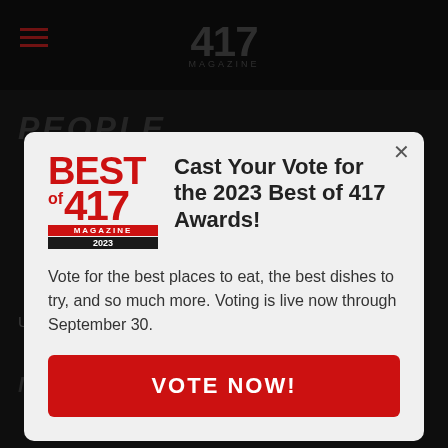417 MAGAZINE
PEOPLE
[Figure (screenshot): Best of 417 Magazine 2023 logo — red bold stacked text reading BEST of 417 MAGAZINE 2023]
Cast Your Vote for the 2023 Best of 417 Awards!
Vote for the best places to eat, the best dishes to try, and so much more. Voting is live now through September 30.
VOTE NOW!
Update Your Address
MORE FROM 417